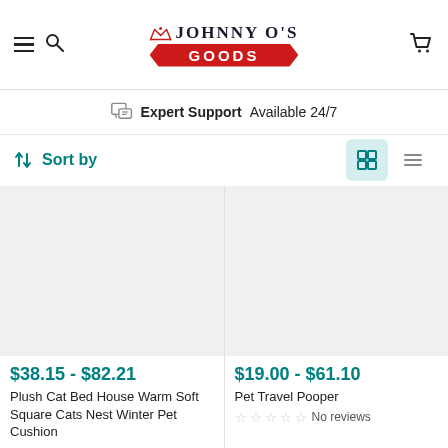[Figure (logo): Johnny O's Goods logo with crown, red badge, serif text]
Expert Support Available 24/7
Sort by
[Figure (photo): Product image placeholder for Plush Cat Bed House (light grey rectangle)]
$38.15 - $82.21
Plush Cat Bed House Warm Soft Square Cats Nest Winter Pet Cushion
[Figure (photo): Product image placeholder for Pet Travel Pooper (light grey rectangle)]
$19.00 - $61.10
Pet Travel Pooper
No reviews